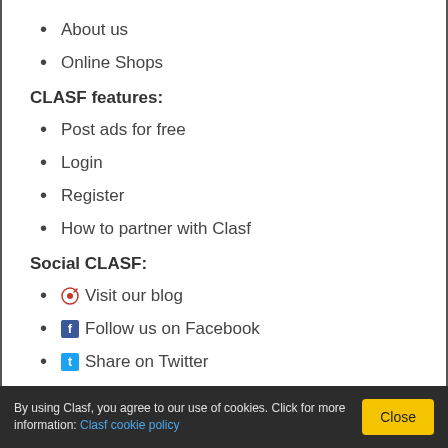About us
Online Shops
CLASF features:
Post ads for free
Login
Register
How to partner with Clasf
Social CLASF:
Visit our blog
Follow us on Facebook
Share on Twitter
By using Clasf, you agree to our use of cookies. Click for more information: Clasf cookie policy